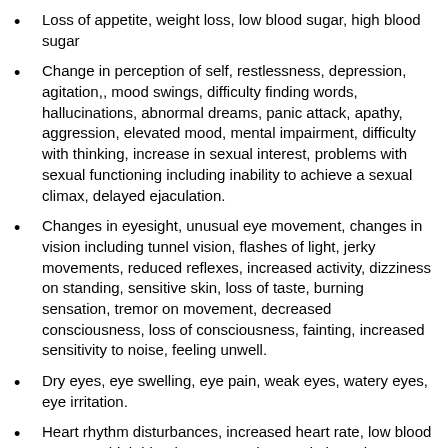Loss of appetite, weight loss, low blood sugar, high blood sugar
Change in perception of self, restlessness, depression, agitation,, mood swings, difficulty finding words, hallucinations, abnormal dreams, panic attack, apathy, aggression, elevated mood, mental impairment, difficulty with thinking, increase in sexual interest, problems with sexual functioning including inability to achieve a sexual climax, delayed ejaculation.
Changes in eyesight, unusual eye movement, changes in vision including tunnel vision, flashes of light, jerky movements, reduced reflexes, increased activity, dizziness on standing, sensitive skin, loss of taste, burning sensation, tremor on movement, decreased consciousness, loss of consciousness, fainting, increased sensitivity to noise, feeling unwell.
Dry eyes, eye swelling, eye pain, weak eyes, watery eyes, eye irritation.
Heart rhythm disturbances, increased heart rate, low blood pressure, high blood pressure, changes in heart beat, heart failure.